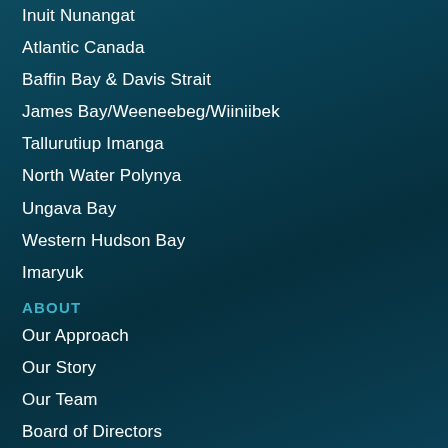Inuit Nunangat
Atlantic Canada
Baffin Bay & Davis Strait
James Bay/Weeneebeg/Wiiniibek
Tallurutiup Imanga
North Water Polynya
Ungava Bay
Western Hudson Bay
Imaryuk
ABOUT
Our Approach
Our Story
Our Team
Board of Directors
Contact
RESOURCES
BLOG
NEWSROOM
DONATE